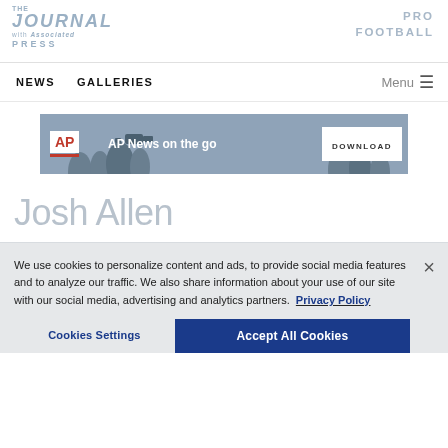[Figure (logo): The Journal with Associated Press logo, left side of header]
PRO
FOOTBALL
NEWS   GALLERIES   Menu ≡
[Figure (screenshot): AP News on the go advertisement banner with download button]
Josh Allen
We use cookies to personalize content and ads, to provide social media features and to analyze our traffic. We also share information about your use of our site with our social media, advertising and analytics partners.  Privacy Policy
Cookies Settings   Accept All Cookies